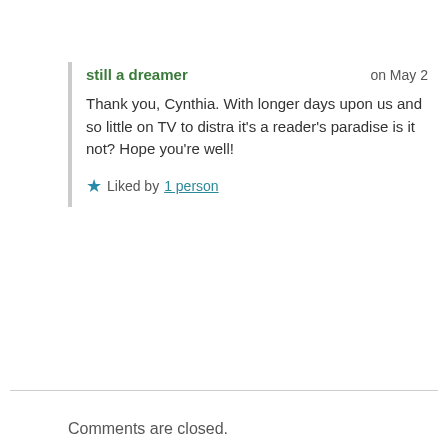still a dreamer — on May 2
Thank you, Cynthia. With longer days upon us and so little on TV to distra it's a reader's paradise is it not? Hope you're well!
Liked by 1 person
Comments are closed.